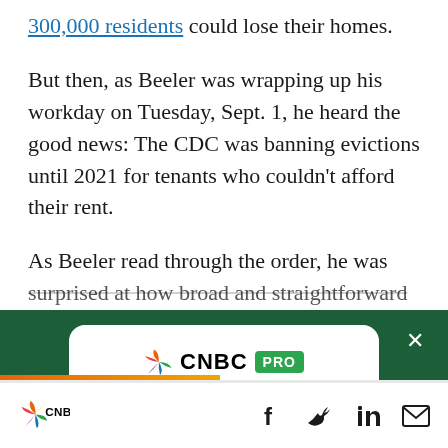300,000 residents could lose their homes.
But then, as Beeler was wrapping up his workday on Tuesday, Sept. 1, he heard the good news: The CDC was banning evictions until 2021 for tenants who couldn't afford their rent.
As Beeler read through the order, he was surprised at how broad and straightforward the
[Figure (screenshot): CNBC PRO subscription popup card with logo, headline 'These are Wall Street's favorite stocks, and where analysts think they're going', and a green 'SUBSCRIBE NOW' button. Dark green background behind card with close X button.]
CNBC logo with social sharing icons: Facebook, Twitter, LinkedIn, Email